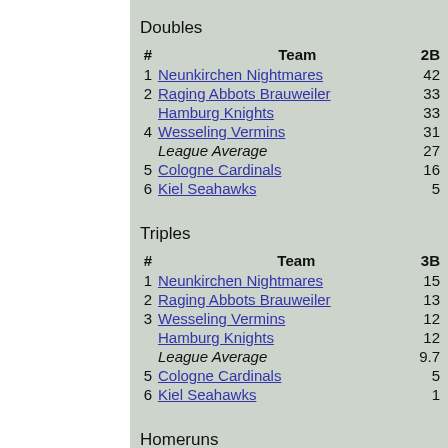Doubles
| # | Team | 2B |
| --- | --- | --- |
| 1 | Neunkirchen Nightmares | 42 |
| 2 | Raging Abbots Brauweiler | 33 |
|  | Hamburg Knights | 33 |
| 4 | Wesseling Vermins | 31 |
|  | League Average | 27 |
| 5 | Cologne Cardinals | 16 |
| 6 | Kiel Seahawks | 5 |
Triples
| # | Team | 3B |
| --- | --- | --- |
| 1 | Neunkirchen Nightmares | 15 |
| 2 | Raging Abbots Brauweiler | 13 |
| 3 | Wesseling Vermins | 12 |
|  | Hamburg Knights | 12 |
|  | League Average | 9.7 |
| 5 | Cologne Cardinals | 5 |
| 6 | Kiel Seahawks | 1 |
Homeruns